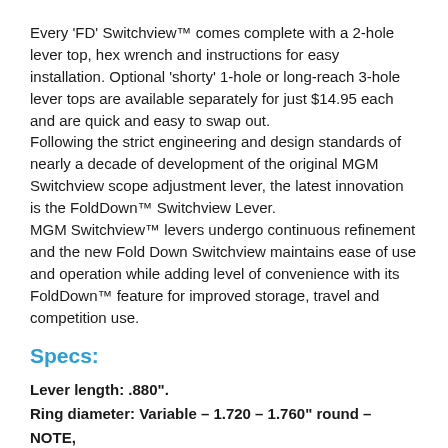Every 'FD' Switchview™ comes complete with a 2-hole lever top, hex wrench and instructions for easy installation. Optional 'shorty' 1-hole or long-reach 3-hole lever tops are available separately for just $14.95 each and are quick and easy to swap out. Following the strict engineering and design standards of nearly a decade of development of the original MGM Switchview scope adjustment lever, the latest innovation is the FoldDown™ Switchview Lever. MGM Switchview™ levers undergo continuous refinement and the new Fold Down Switchview maintains ease of use and operation while adding level of convenience with its FoldDown™ feature for improved storage, travel and competition use.
Specs:
Lever length: .880".
Ring diameter: Variable – 1.720 – 1.760" round – NOTE,